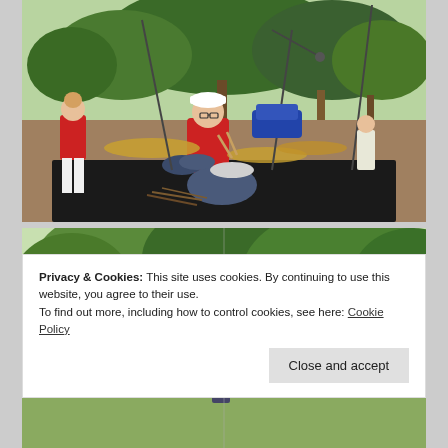[Figure (photo): Outdoor concert/park scene showing a drummer in a red shirt and white cap playing a drum kit on a black stage, with a woman in red shirt and white pants standing to the left, trees and a blue car visible in background, microphone stands around the kit.]
[Figure (photo): Outdoor park scene showing trees with green foliage, partially visible people in the foreground. A cookie consent banner overlaps the lower portion of the image.]
Privacy & Cookies: This site uses cookies. By continuing to use this website, you agree to their use.
To find out more, including how to control cookies, see here: Cookie Policy
Close and accept